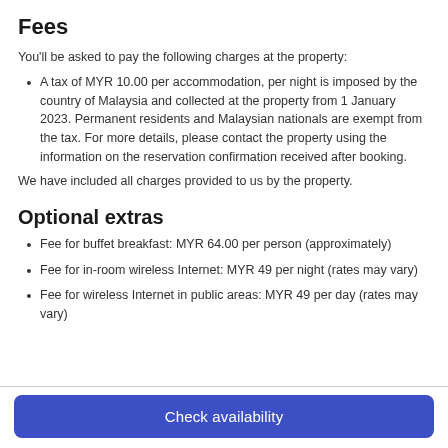Fees
You'll be asked to pay the following charges at the property:
A tax of MYR 10.00 per accommodation, per night is imposed by the country of Malaysia and collected at the property from 1 January 2023. Permanent residents and Malaysian nationals are exempt from the tax. For more details, please contact the property using the information on the reservation confirmation received after booking.
We have included all charges provided to us by the property.
Optional extras
Fee for buffet breakfast: MYR 64.00 per person (approximately)
Fee for in-room wireless Internet: MYR 49 per night (rates may vary)
Fee for wireless Internet in public areas: MYR 49 per day (rates may vary)
Check availability